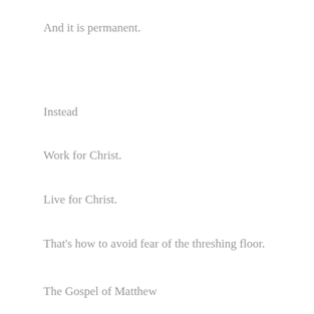And it is permanent.
Instead
Work for Christ.
Live for Christ.
That's how to avoid fear of the threshing floor.
The Gospel of Matthew